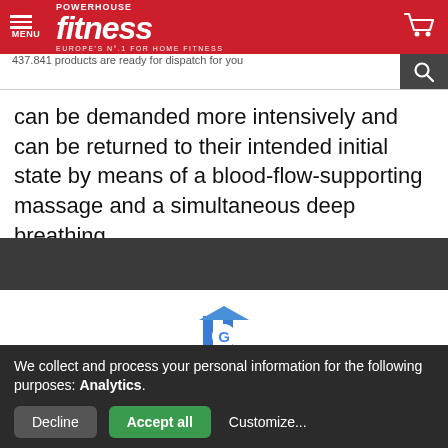[Figure (screenshot): Powerhouse Fitness website header with red background, hamburger menu, fitness logo in italic white text, tagline 'Europe's No.1 for Home Fitness', and shopping cart icon]
437.841 products are ready for dispatch for you
can be demanded more intensively and can be returned to their intended initial state by means of a blood-flow-supporting massage and a simultaneous deep breathing.
[Figure (logo): Google My Business store icon with blue and white stripes and Google G logo]
15030
Ratings
We collect and process your personal information for the following purposes: Analytics.
Decline
Accept all
Customize...